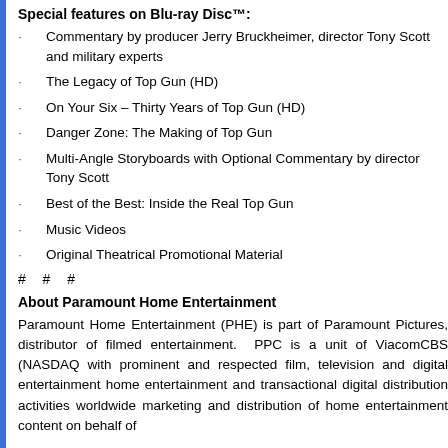Special features on Blu-ray Disc™:
Commentary by producer Jerry Bruckheimer, director Tony Scott and military experts
The Legacy of Top Gun (HD)
On Your Six – Thirty Years of Top Gun (HD)
Danger Zone: The Making of Top Gun
Multi-Angle Storyboards with Optional Commentary by director Tony Scott
Best of the Best: Inside the Real Top Gun
Music Videos
Original Theatrical Promotional Material
# # #
About Paramount Home Entertainment
Paramount Home Entertainment (PHE) is part of Paramount Pictures, distributor of filmed entertainment. PPC is a unit of ViacomCBS (NASDAQ with prominent and respected film, television and digital entertainment home entertainment and transactional digital distribution activities worldwide marketing and distribution of home entertainment content on behalf of